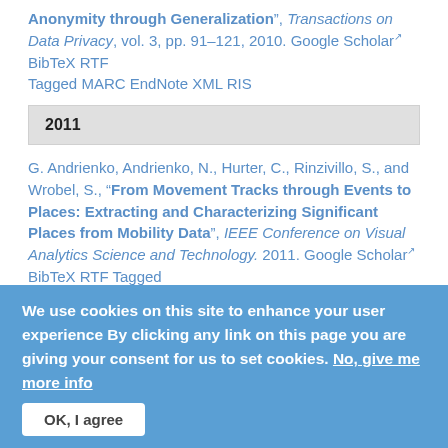Anonymity through Generalization", Transactions on Data Privacy, vol. 3, pp. 91–121, 2010. Google Scholar BibTeX RTF Tagged MARC EndNote XML RIS
2011
G. Andrienko, Andrienko, N., Hurter, C., Rinzivillo, S., and Wrobel, S., "From Movement Tracks through Events to Places: Extracting and Characterizing Significant Places from Mobility Data", IEEE Conference on Visual Analytics Science and Technology. 2011. Google Scholar BibTeX RTF Tagged MARC EndNote XML RIS
2013
We use cookies on this site to enhance your user experience By clicking any link on this page you are giving your consent for us to set cookies. No, give me more info